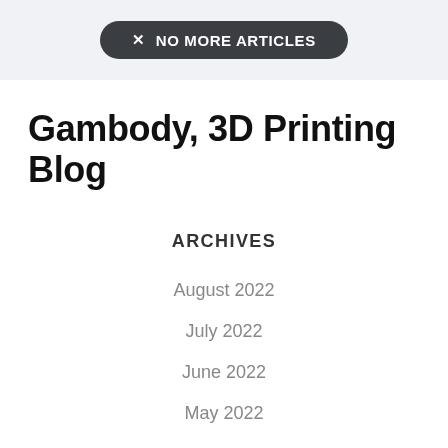× NO MORE ARTICLES
Gambody, 3D Printing Blog
ARCHIVES
August 2022
July 2022
June 2022
May 2022